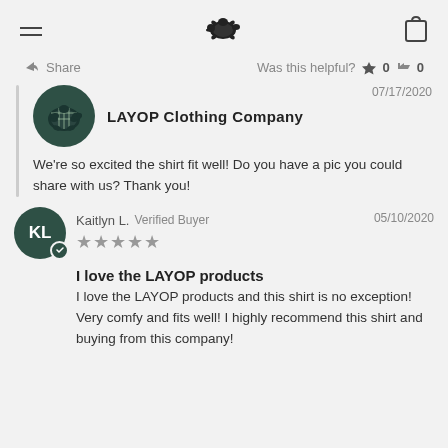LAYOP Clothing Company navigation header
Share   Was this helpful?  👍 0  👎 0
LAYOP Clothing Company  07/17/2020  We're so excited the shirt fit well!  Do you have a pic you could share with us?  Thank you!
Kaitlyn L.  Verified Buyer  05/10/2020  ★★★★★  I love the LAYOP products  I love the LAYOP products and this shirt is no exception! Very comfy and fits well! I highly recommend this shirt and buying from this company!